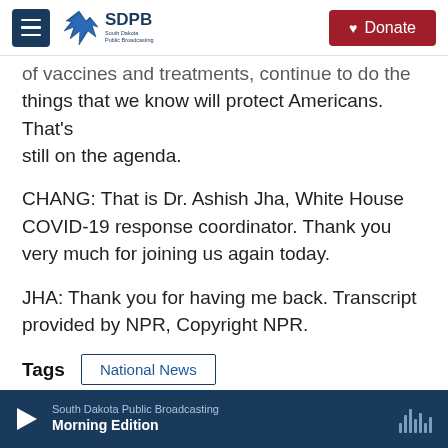SDPB South Dakota Public Broadcasting | Donate
of vaccines and treatments, continue to do the things that we know will protect Americans. That's still on the agenda.
CHANG: That is Dr. Ashish Jha, White House COVID-19 response coordinator. Thank you very much for joining us again today.
JHA: Thank you for having me back. Transcript provided by NPR, Copyright NPR.
Tags   National News
[Figure (other): Social sharing buttons: Facebook, Twitter, LinkedIn, Email]